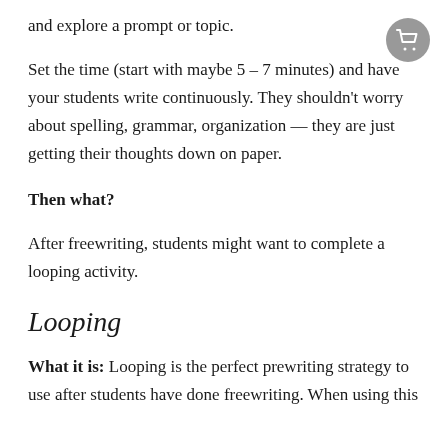and explore a prompt or topic.
Set the time (start with maybe 5 – 7 minutes) and have your students write continuously. They shouldn't worry about spelling, grammar, organization — they are just getting their thoughts down on paper.
Then what?
After freewriting, students might want to complete a looping activity.
Looping
What it is: Looping is the perfect prewriting strategy to use after students have done freewriting. When using this